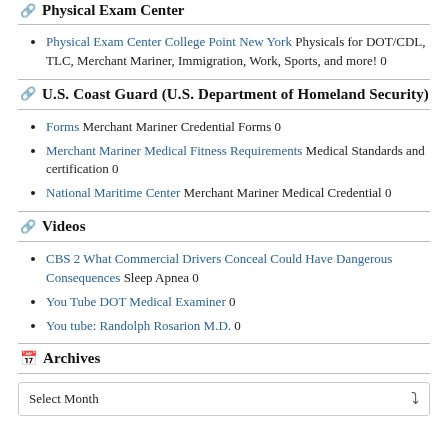Physical Exam Center
Physical Exam Center College Point New York Physicals for DOT/CDL, TLC, Merchant Mariner, Immigration, Work, Sports, and more! 0
U.S. Coast Guard (U.S. Department of Homeland Security)
Forms Merchant Mariner Credential Forms 0
Merchant Mariner Medical Fitness Requirements Medical Standards and certification 0
National Maritime Center Merchant Mariner Medical Credential 0
Videos
CBS 2 What Commercial Drivers Conceal Could Have Dangerous Consequences Sleep Apnea 0
You Tube DOT Medical Examiner 0
You tube: Randolph Rosarion M.D. 0
Archives
Select Month